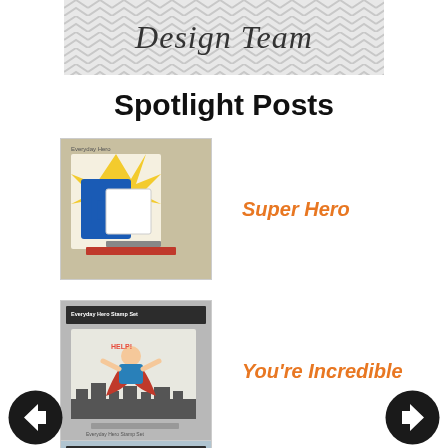[Figure (illustration): Design Team header banner with chevron zigzag pattern background and cursive 'Design Team' text]
Spotlight Posts
[Figure (photo): Card with superhero theme, Everyday Hero stamp set, colorful card on easel stand]
Super Hero
[Figure (photo): Card with Everyday Hero Stamp Set, flying superhero figure over cityscape]
You're Incredible
[Figure (photo): Card with Stampin Up Carousel Birthday theme, partial view]
Another Carousel Birthday